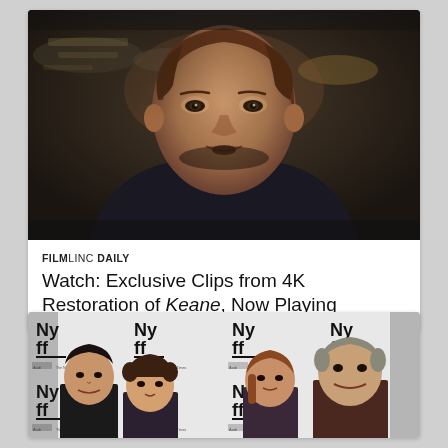[Figure (photo): Dark cinematic still of a man with reddish-brown hair looking intensely forward, dark background with blurred lights, from the film Keane]
FILMLINC DAILY
Watch: Exclusive Clips from 4K Restoration of Keane, Now Playing
[Figure (photo): Group photo of four people at a NYFF (New York Film Festival) event on a step-and-repeat banner background showing the Nyff logo and sponsor logos including Audi and The New York Times]